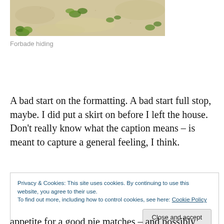[Figure (photo): Photograph of sandy ground with small green plants/weeds growing through it, partially cropped at top of page]
Forbade hiding
A bad start on the formatting. A bad start full stop, maybe. I did put a skirt on before I left the house. Don't really know what the caption means – is meant to capture a general feeling, I think.
Privacy & Cookies: This site uses cookies. By continuing to use this website, you agree to their use.
To find out more, including how to control cookies, see here: Cookie Policy
Close and accept
appetite for a good pie matches – and possibly